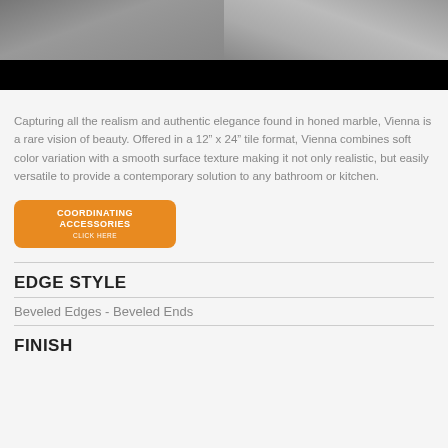[Figure (photo): Two-panel overhead photo of people on a marble/tile floor, left panel showing legs in grey pants, right panel showing person in jeans. Bottom portion is black.]
Capturing all the realism and authentic elegance found in honed marble, Vienna is a rare vision of beauty. Offered in a 12” x 24” tile format, Vienna combines soft color variation with a smooth surface texture making it not only realistic, but easily versatile to provide a contemporary solution to any bathroom or kitchen.
[Figure (other): Orange rounded button reading COORDINATING ACCESSORIES CLICK HERE]
EDGE STYLE
Beveled Edges - Beveled Ends
FINISH